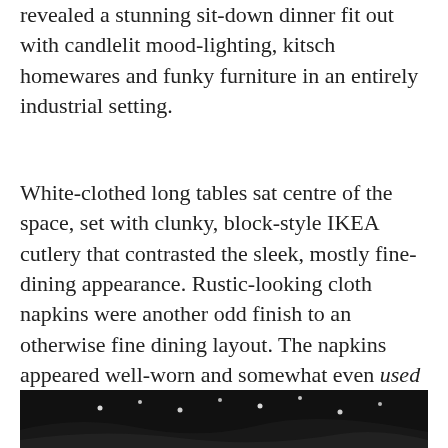revealed a stunning sit-down dinner fit out with candlelit mood-lighting, kitsch homewares and funky furniture in an entirely industrial setting.
White-clothed long tables sat centre of the space, set with clunky, block-style IKEA cutlery that contrasted the sleek, mostly fine-dining appearance. Rustic-looking cloth napkins were another odd finish to an otherwise fine dining layout. The napkins appeared well-worn and somewhat even used despite being brand spanking new (a characteristic that should probably be concerning for an item of hygienic use), however IKEA seems to pull it off in some kind of effortless, hipster-chic style. Only at IKEA.
[Figure (photo): Dark photograph showing small bright lights (possibly fairy lights or ceiling lights) against a very dark background, partially visible at the bottom of the page.]